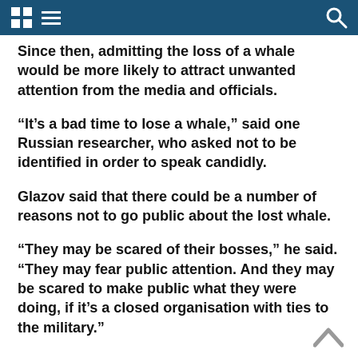[Navigation bar with grid icon, hamburger menu, and search icon]
Since then, admitting the loss of a whale would be more likely to attract unwanted attention from the media and officials.
“It’s a bad time to lose a whale,” said one Russian researcher, who asked not to be identified in order to speak candidly.
Glazov said that there could be a number of reasons not to go public about the lost whale.
“They may be scared of their bosses,” he said. “They may fear public attention. And they may be scared to make public what they were doing, if it’s a closed organisation with ties to the military.”